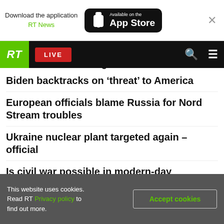[Figure (screenshot): App download banner with RT News app store badge and close button]
[Figure (screenshot): RT news website navigation bar with logo, LIVE button, search and menu icons]
Ukraine admits shelling area around nuclear
Biden backtracks on 'threat' to America
European officials blame Russia for Nord Stream troubles
Ukraine nuclear plant targeted again – official
Is civil war possible in modern-day America? OP-ED
Nord Stream gas supply to EU stopped indefinitely – Gazprom
Court reveals what FBI took from Mar-a-Lago
This website uses cookies. Read RT Privacy policy to find out more. Accept cookies